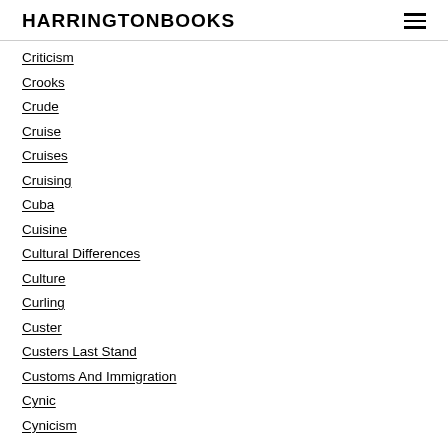HARRINGTONBOOKS
Criticism
Crooks
Crude
Cruise
Cruises
Cruising
Cuba
Cuisine
Cultural Differences
Culture
Curling
Custer
Custers Last Stand
Customs And Immigration
Cynic
Cynicism